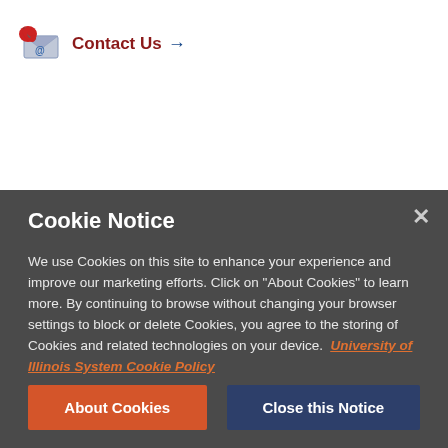[Figure (illustration): Contact Us link with telephone and email icon, red phone and envelope graphic with '@' symbol, followed by red 'Contact Us' text and a blue right arrow]
[Figure (photo): Partial view of a photo strip showing multiple people in a group, partially obscured by the cookie notice overlay]
Cookie Notice
We use Cookies on this site to enhance your experience and improve our marketing efforts. Click on "About Cookies" to learn more. By continuing to browse without changing your browser settings to block or delete Cookies, you agree to the storing of Cookies and related technologies on your device.  University of Illinois System Cookie Policy
About Cookies
Close this Notice